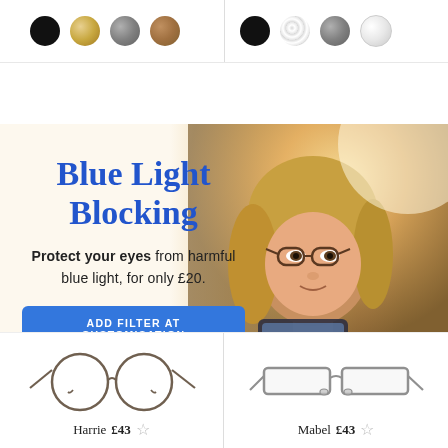[Figure (infographic): Top row with two groups of color swatches separated by a vertical divider. Left group: 4 swatches (black, gold/cream, grey, brown). Right group: 4 swatches (black, tortoise, grey, white/clear).]
[Figure (photo): Banner with woman wearing glasses reading a tablet, warm golden background. Contains Blue Light Blocking promotional text and CTA button.]
Blue Light Blocking
Protect your eyes from harmful blue light, for only £20.
ADD FILTER AT CUSTOMISATION
[Figure (photo): Round metal frame glasses (Harrie) shown in bronze/gunmetal color]
Harrie £43 ☆
[Figure (photo): Rectangular semi-rimless metal frame glasses (Mabel) shown in silver/grey]
Mabel £43 ☆